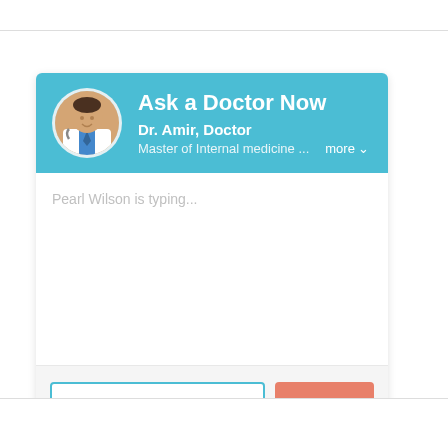[Figure (screenshot): A chat widget UI for 'Ask a Doctor Now' featuring Dr. Amir, Doctor with specialty 'Master of Internal medicine ...' and a 'more' dropdown link. The chat body shows 'Pearl Wilson is typing...' placeholder text. Below is a message input field labeled 'Type your message...' and a coral-colored 'Send' button.]